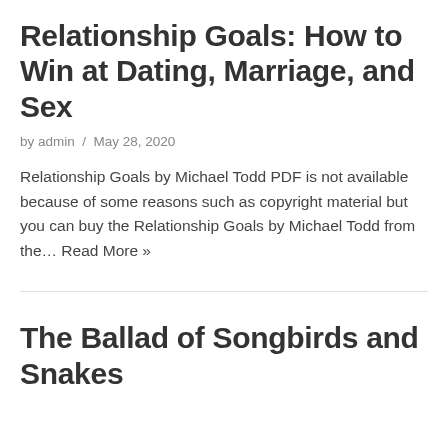Relationship Goals: How to Win at Dating, Marriage, and Sex
by admin / May 28, 2020
Relationship Goals by Michael Todd PDF is not available because of some reasons such as copyright material but you can buy the Relationship Goals by Michael Todd from the… Read More »
The Ballad of Songbirds and Snakes